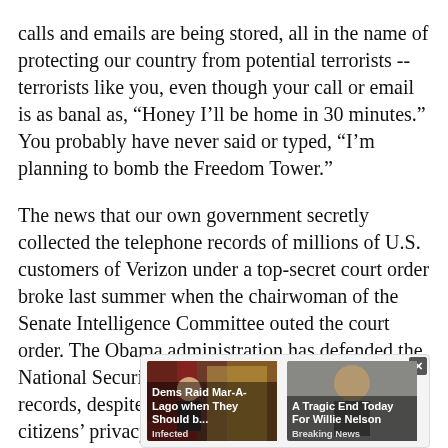calls and emails are being stored, all in the name of protecting our country from potential terrorists -- terrorists like you, even though your call or email is as banal as, “Honey I’ll be home in 30 minutes.” You probably have never said or typed, “I’m planning to bomb the Freedom Tower.”
The news that our own government secretly collected the telephone records of millions of U.S. customers of Verizon under a top-secret court order broke last summer when the chairwoman of the Senate Intelligence Committee outed the court order. The Obama administration has defended the National Security Agency’s “need” to collect such records, despite the huge overreach and invasion of citizens’ privacy.
[Figure (screenshot): Advertisement widget with two news/ad cards side by side with a close button (x). Left card shows a photo of Trump in the Oval Office with caption 'Dems Raid Mar-A-Lago when They Should b...' and source 'Infected'. Right card shows a photo of an elderly man with caption 'A Tragic End Today For Willie Nelson' and source 'Breaking News'.]